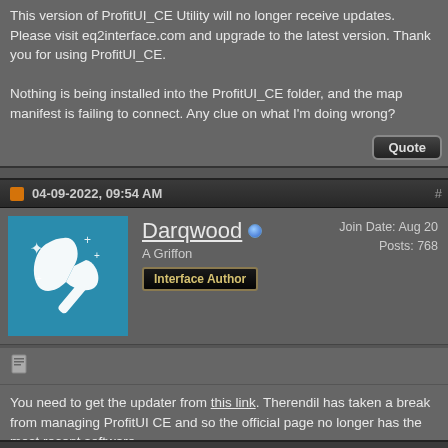This version of ProfitUI_CE Utility will no longer receive updates. Please visit eq2interface.com and upgrade to the latest version. Thank you for using ProfitUI_CE.

Nothing is being installed into the ProfitUI_CE folder, and the map manifest is failing to connect. Any clue on what I'm doing wrong?
04-09-2022, 09:54 AM
[Figure (illustration): User avatar: white axe/weapon icon on teal/blue background with sparkle stars]
Darqwood
A Griffon
Interface Author
Join Date: Aug 20
Posts: 768
You need to get the updater from this link. Therendil has taken a break from managing ProfitUI CE and so the official page no longer has the most recent software.